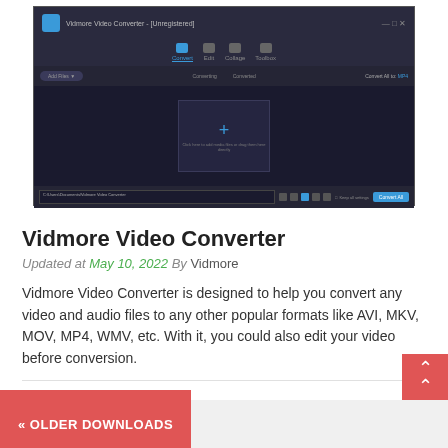[Figure (screenshot): Screenshot of Vidmore Video Converter software interface showing a dark-themed application with a drop zone area with a plus icon, navigation toolbar, and convert button]
Vidmore Video Converter
Updated at May 10, 2022 By Vidmore
Vidmore Video Converter is designed to help you convert any video and audio files to any other popular formats like AVI, MKV, MOV, MP4, WMV, etc. With it, you could also edit your video before conversion.
♡ 0
« OLDER DOWNLOADS